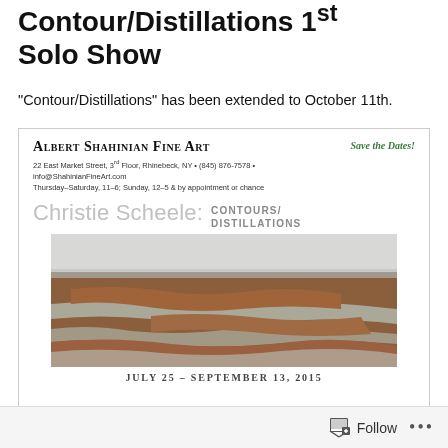Contour/Distillations 1st Solo Show
“Contour/Distillations” has been extended to October 11th.
[Figure (illustration): Albert Shahinian Fine Art gallery flyer for Christie Scheele: Contours/Distillations, July 25 – September 13, 2015, showing a landscape painting of marsh/mudflat terrain.]
Follow …